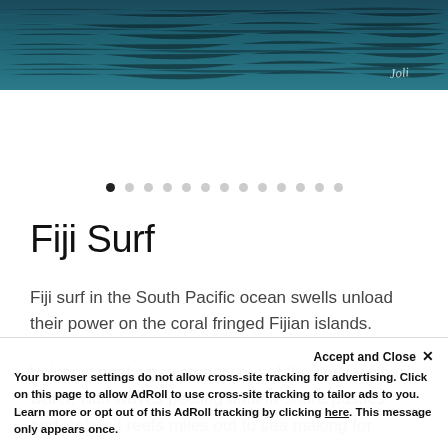[Figure (photo): Ocean surface photo showing dark teal/blue water with a cursive 'Joli' watermark signature in the lower right corner]
[Figure (other): Carousel navigation dots — 13 dots in a row, the first one filled black (active), the rest light gray]
Fiji Surf
Fiji surf in the South Pacific ocean swells unload their power on the coral fringed Fijian islands.
Volcanic peaks rise steeply out of the crystal clear water, with waves peeling onto in-shore passes and isolated reefs miles out to sea making for...
Accept and Close ×
Your browser settings do not allow cross-site tracking for advertising. Click on this page to allow AdRoll to use cross-site tracking to tailor ads to you. Learn more or opt out of this AdRoll tracking by clicking here. This message only appears once.